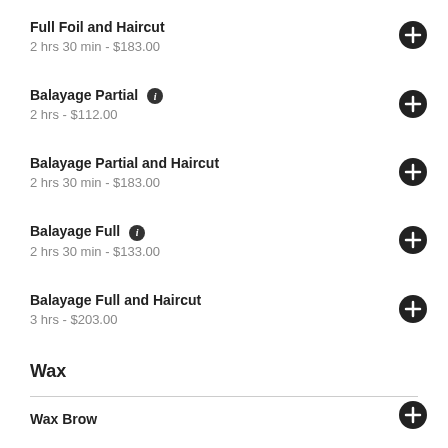Full Foil and Haircut
2 hrs 30 min - $183.00
Balayage Partial
2 hrs - $112.00
Balayage Partial and Haircut
2 hrs 30 min - $183.00
Balayage Full
2 hrs 30 min - $133.00
Balayage Full and Haircut
3 hrs - $203.00
Wax
Wax Brow